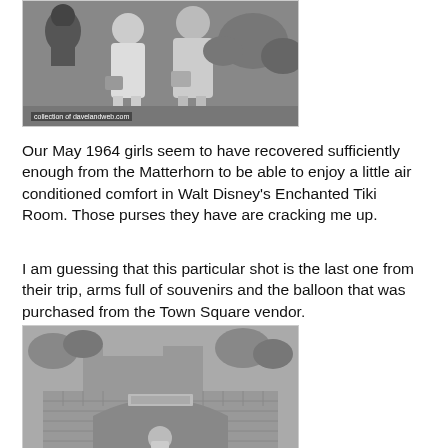[Figure (photo): Black and white photo of two girls at what appears to be Walt Disney's Enchanted Tiki Room area, with tiki statues visible in the background. Watermark reads 'collection of davelandweb.com']
Our May 1964 girls seem to have recovered sufficiently enough from the Matterhorn to be able to enjoy a little air conditioned comfort in Walt Disney's Enchanted Tiki Room. Those purses they have are cracking me up.
I am guessing that this particular shot is the last one from their trip, arms full of souvenirs and the balloon that was purchased from the Town Square vendor.
[Figure (photo): Black and white photo showing a brick arch gateway structure, likely at Disneyland Town Square area.]